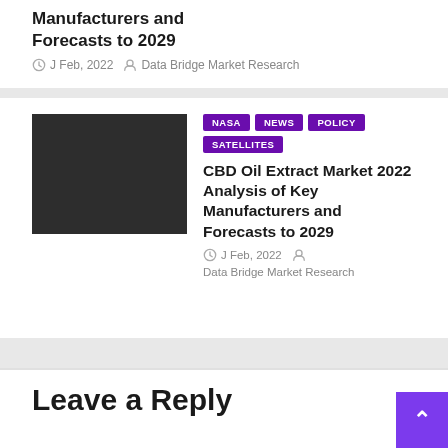Manufacturers and Forecasts to 2029
J Feb, 2022  Data Bridge Market Research
[Figure (photo): Dark background image placeholder]
NASA  NEWS  POLICY  SATELLITES
CBD Oil Extract Market 2022 Analysis of Key Manufacturers and Forecasts to 2029
J Feb, 2022  Data Bridge Market Research
Leave a Reply